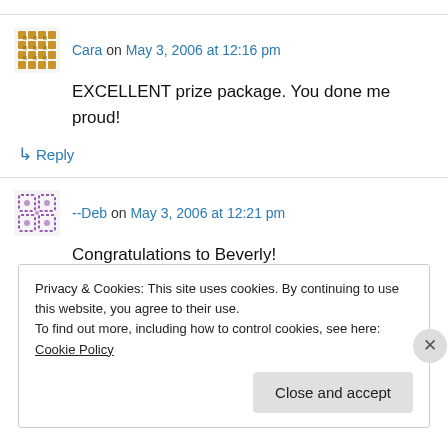Cara on May 3, 2006 at 12:16 pm
EXCELLENT prize package. You done me proud!
↳ Reply
--Deb on May 3, 2006 at 12:21 pm
Congratulations to Beverly!
Privacy & Cookies: This site uses cookies. By continuing to use this website, you agree to their use.
To find out more, including how to control cookies, see here: Cookie Policy
Close and accept